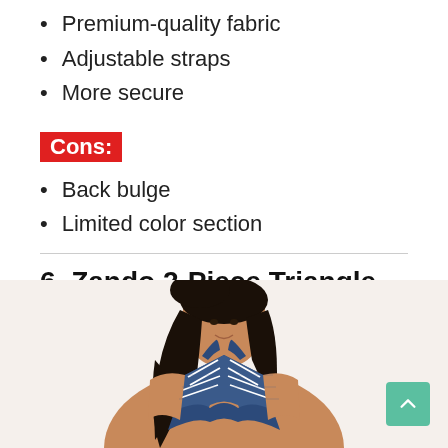Premium-quality fabric
Adjustable straps
More secure
Cons:
Back bulge
Limited color section
6. Zando 2-Piece Triangle Swimsuit
[Figure (photo): Woman wearing a navy blue and white striped 2-piece triangle swimsuit, halter style, photographed from the torso up.]